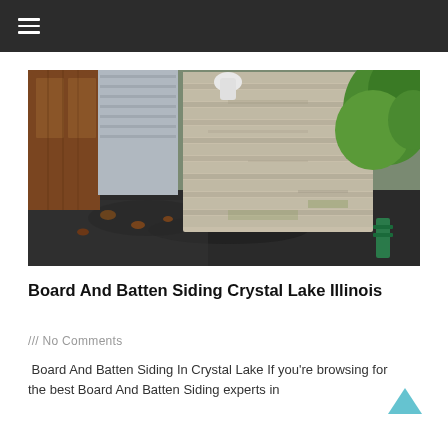≡
[Figure (photo): A person wearing a white glove holds up a large corrugated asbestos or cement siding panel outdoors. The background shows a wooden door/fence on the left, grey siding on a structure, green foliage on the right, and a dark wet ground surface with fallen leaves.]
Board And Batten Siding Crystal Lake Illinois
/// No Comments
Board And Batten Siding In Crystal Lake If you're browsing for the best Board And Batten Siding experts in
Read More »